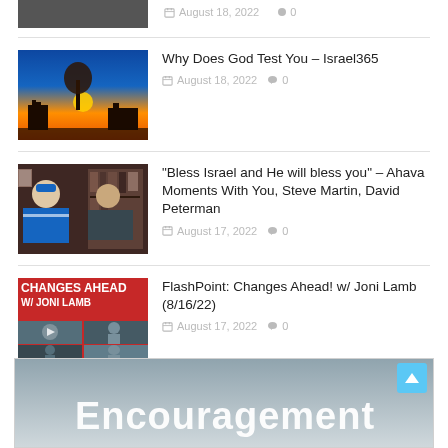[Figure (photo): Partial thumbnail of an article image at top, cut off]
Why Does God Test You – Israel365
August 18, 2022  0
"Bless Israel and He will bless you" – Ahava Moments With You, Steve Martin, David Peterman
August 17, 2022  0
FlashPoint: Changes Ahead! w/ Joni Lamb (8/16/22)
August 17, 2022  0
[Figure (photo): Advertisement banner showing the word Encouragement on a blue-grey gradient background]